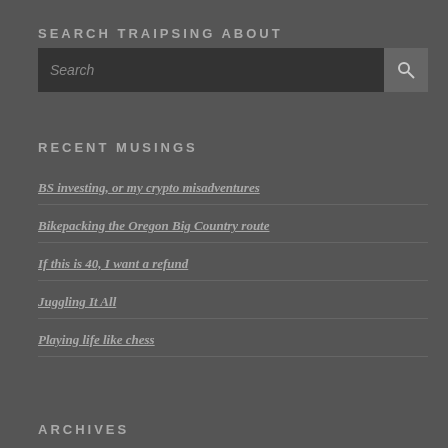SEARCH TRAIPSING ABOUT
[Figure (screenshot): Search input box with dark background and a search button with magnifying glass icon]
RECENT MUSINGS
BS investing, or my crypto misadventures
Bikepacking the Oregon Big Country route
If this is 40, I want a refund
Juggling It All
Playing life like chess
ARCHIVES